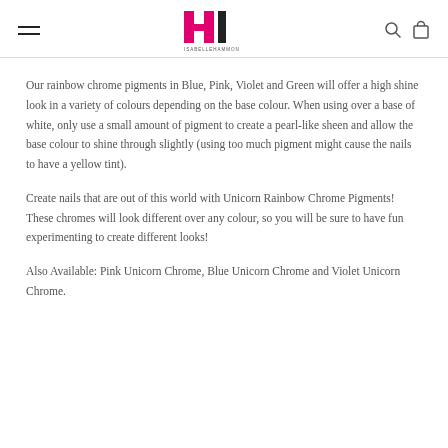[Isabelle Hammond logo with navigation]
Our rainbow chrome pigments in Blue, Pink, Violet and Green will offer a high shine look in a variety of colours depending on the base colour. When using over a base of white, only use a small amount of pigment to create a pearl-like sheen and allow the base colour to shine through slightly (using too much pigment might cause the nails to have a yellow tint).
Create nails that are out of this world with Unicorn Rainbow Chrome Pigments! These chromes will look different over any colour, so you will be sure to have fun experimenting to create different looks!
Also Available: Pink Unicorn Chrome, Blue Unicorn Chrome and Violet Unicorn Chrome.